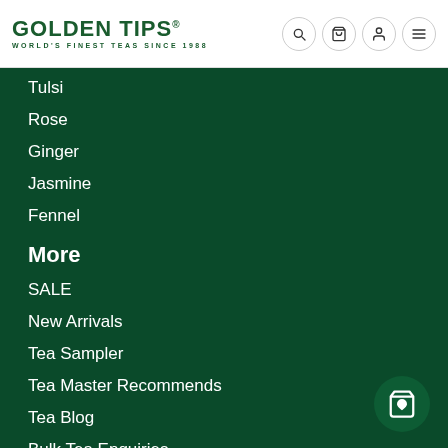GOLDEN TIPS® — WORLD'S FINEST TEAS SINCE 1988
Tulsi
Rose
Ginger
Jasmine
Fennel
More
SALE
New Arrivals
Tea Sampler
Tea Master Recommends
Tea Blog
Bulk Tea Enquiries
[Figure (other): Shopping bag with heart icon floating action button]